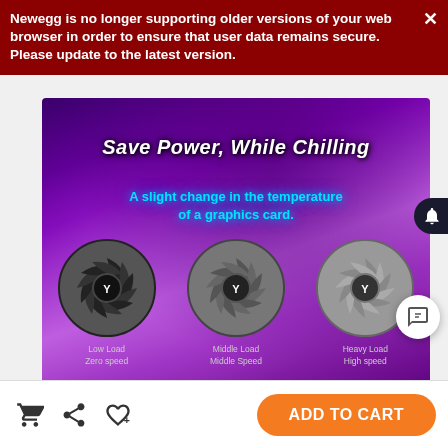Newegg is no longer supporting older versions of your web browser in order to ensure that user data remains secure. Please update to the latest version.
[Figure (screenshot): Product promotional image on purple/magenta background showing 'Save Power, While Chilling' with three GPU fans labeled Low Load Zero speed, Middle Load Middle Speed, Heavy Load High speed]
ADD TO CART